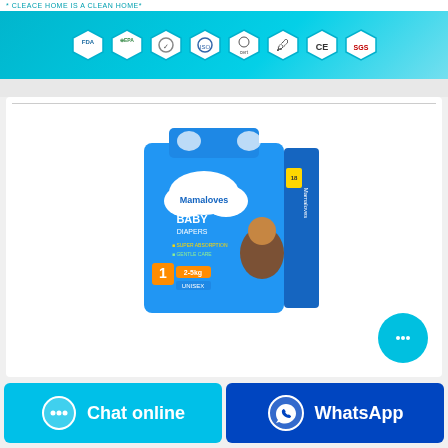* CLEACE HOME IS A CLEAN HOME*
[Figure (illustration): Certification badges banner: FDA, EPA, and 6 other certification logos on a teal/cyan background with geometric pattern]
[Figure (photo): Mamaloves Baby Diapers product package - blue box, size 1, 2-5kg, Unisex, with image of smiling baby]
Chat online
WhatsApp